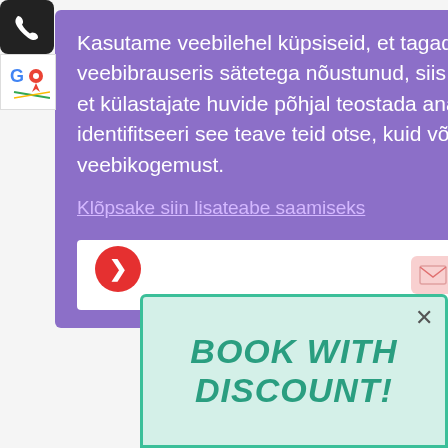[Figure (screenshot): Screenshot of a website with a cookie consent overlay in Estonian language, a 'BOOK WITH DISCOUNT!' promotional banner at the bottom, phone and Google Maps app icons on the left, and partially visible massage service price list in the background.]
Kasutame veebilehel küpsiseid, et tagada teile sellel parimad kogemused. Kui olete veebibrauseris sätetega nõustunud, siis kasutame küpsistes sisalduvat teavet selleks, et külastajate huvide põhjal teostada analüüse ja valida reklaame.Tavaliselt ei identifitseeri see teave teid otse, kuid võib teile pakkuda isikupärastatumat veebikogemust.
Klõpsake siin lisateabe saamiseks
Sain aru
BOOK WITH DISCOUNT!